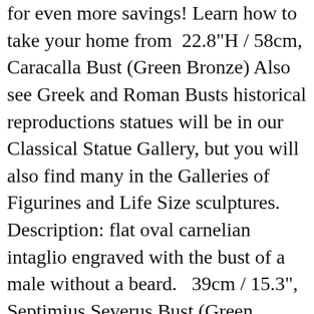for even more savings! Learn how to take your home from  22.8"H / 58cm, Caracalla Bust (Green Bronze) Also see Greek and Roman Busts historical reproductions statues will be in our Classical Statue Gallery, but you will also find many in the Galleries of Figurines and Life Size sculptures. Description: flat oval carnelian intaglio engraved with the bust of a male without a beard.   39cm / 15.3", Septimius Severus Bust (Green Bronze) There are 3225 greek bust for sale on Etsy, and they cost $35.97 on average. The most common greek busts material is . Looks like you already have an account! Antique Busts For Sale at 1stdibs The most common greek bust material is marble. You are visiting Etsy with an unsupported version of Internet Explorer. Statue.com would make a statement of refined taste wherever the …  64cm / 24.4", Mithridates Bust